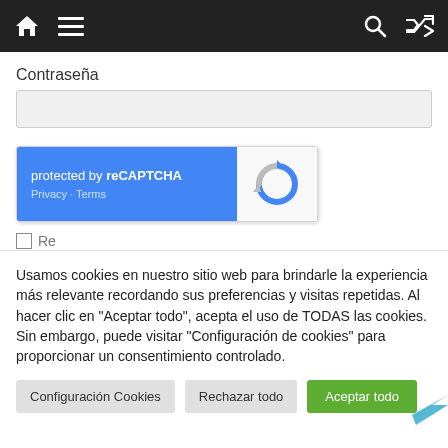[Figure (screenshot): Top navigation bar with home icon, hamburger menu, search icon, and shuffle icon on dark background]
Contraseña
[Figure (screenshot): reCAPTCHA widget showing 'protected by reCAPTCHA' with Privacy and Terms links on blue background, and reCAPTCHA logo on grey background]
Usamos cookies en nuestro sitio web para brindarle la experiencia más relevante recordando sus preferencias y visitas repetidas. Al hacer clic en "Aceptar todo", acepta el uso de TODAS las cookies. Sin embargo, puede visitar "Configuración de cookies" para proporcionar un consentimiento controlado.
Configuración Cookies   Rechazar todo   Aceptar todo